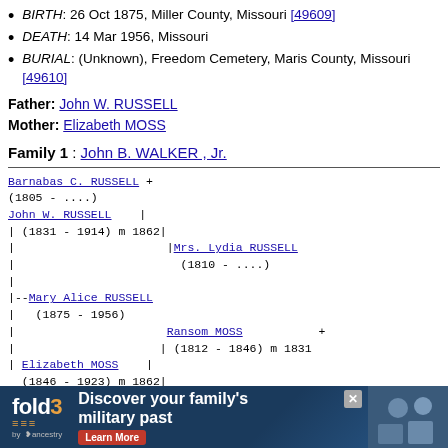BIRTH: 26 Oct 1875, Miller County, Missouri [49609]
DEATH: 14 Mar 1956, Missouri
BURIAL: (Unknown), Freedom Cemetery, Maris County, Missouri [49610]
Father: John W. RUSSELL
Mother: Elizabeth MOSS
Family 1 : John B. WALKER , Jr.
[Figure (other): Genealogy family tree diagram showing ancestors of Mary Alice RUSSELL (1875-1956). Paternal line: John W. RUSSELL (1831-1914) m 1862, parents: Barnabas C. RUSSELL + (1805-....) and Mrs. Lydia RUSSELL (1810-....). Maternal line: Elizabeth MOSS (1846-1923) m 1862, parents: Ransom MOSS + (1812-1846) m 1831.]
[Figure (other): Advertisement banner for Fold3 by Ancestry: Discover your family's military past. Learn More button.]